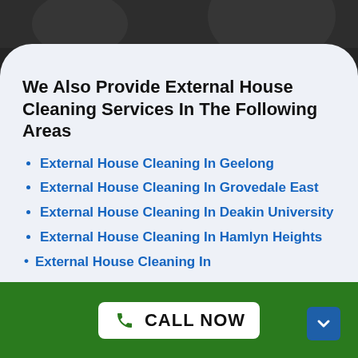[Figure (photo): Dark background photo visible at the top of the page behind the white rounded panel]
We Also Provide External House Cleaning Services In The Following Areas
External House Cleaning In Geelong
External House Cleaning In Grovedale East
External House Cleaning In Deakin University
External House Cleaning In Hamlyn Heights
External House Cleaning In (partially visible)
CALL NOW